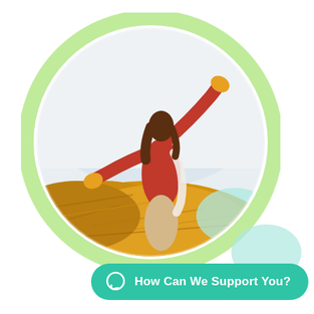[Figure (illustration): A woman in a red top with arms outstretched standing in a golden wheat field, viewed from behind, set inside a circular frame with a light green ring border. A teal/mint decorative blob is partially visible at the lower right of the circle.]
How Can We Support You?